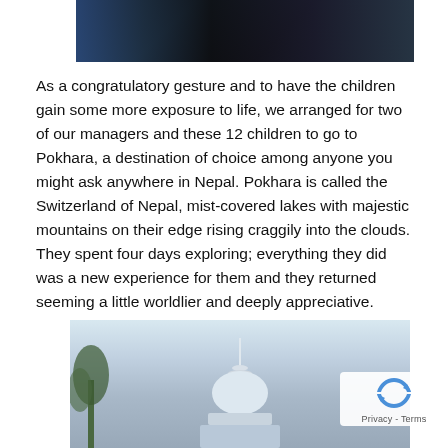[Figure (photo): Dark photograph showing people, partially visible at top of page]
As a congratulatory gesture and to have the children gain some more exposure to life, we arranged for two of our managers and these 12 children to go to Pokhara, a destination of choice among anyone you might ask anywhere in Nepal. Pokhara is called the Switzerland of Nepal, mist-covered lakes with majestic mountains on their edge rising craggily into the clouds. They spent four days exploring; everything they did was a new experience for them and they returned seeming a little worldlier and deeply appreciative.
[Figure (photo): Misty landscape photo showing a stupa or temple structure in foggy conditions, with trees visible on the left side]